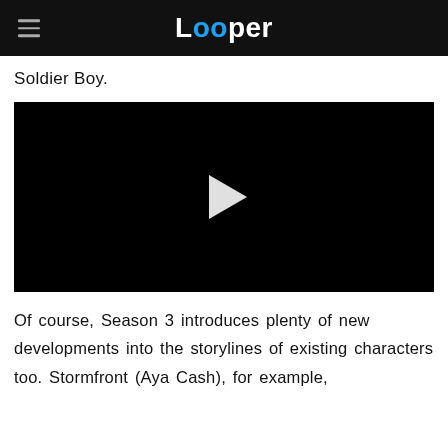Looper
Soldier Boy.
[Figure (screenshot): Black video player with a white play button triangle in the center.]
Of course, Season 3 introduces plenty of new developments into the storylines of existing characters too. Stormfront (Aya Cash), for example,